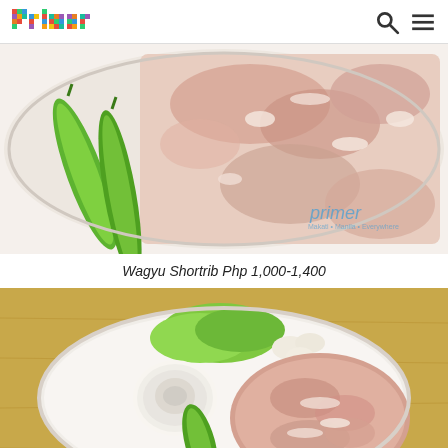primer
[Figure (photo): Close-up of marbled Wagyu beef short rib slices on a white plate with two green chili peppers. A primer watermark is visible in the lower right corner.]
Wagyu Shortrib Php 1,000-1,400
[Figure (photo): A plate of marbled Wagyu beef with vegetables including lettuce, garlic slices, onion, and green chili on a wooden table background.]